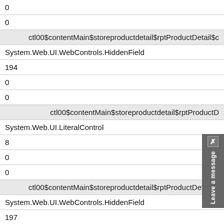| 0 |
| 0 |
| ctl00$contentMain$storeproductdetail$rptProductDetail$c |
| System.Web.UI.WebControls.HiddenField |
| 194 |
| 0 |
| 0 |
| ctl00$contentMain$storeproductdetail$rptProductD |
| System.Web.UI.LiteralControl |
| 8 |
| 0 |
| 0 |
| ctl00$contentMain$storeproductdetail$rptProductDetail$c |
| System.Web.UI.WebControls.HiddenField |
| 197 |
| 0 |